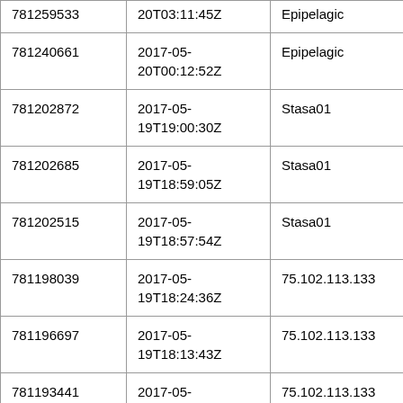| 781259533 | 20T03:11:45Z | Epipelagic | this is a b |
| 781240661 | 2017-05-20T00:12:52Z | Epipelagic | copyedit, |
| 781202872 | 2017-05-19T19:00:30Z | Stasa01 |  |
| 781202685 | 2017-05-19T18:59:05Z | Stasa01 |  |
| 781202515 | 2017-05-19T18:57:54Z | Stasa01 | New imag |
| 781198039 | 2017-05-19T18:24:36Z | 75.102.113.133 |  |
| 781196697 | 2017-05-19T18:13:43Z | 75.102.113.133 |  |
| 781193441 | 2017-05-19T17:48:57Z | 75.102.113.133 |  |